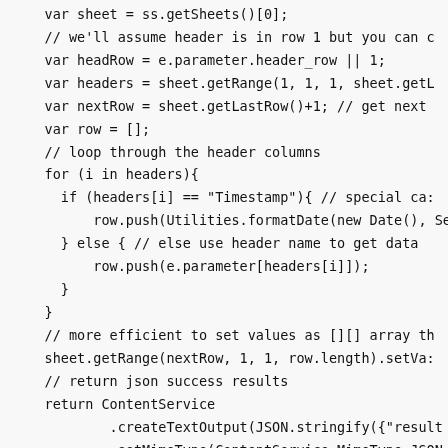[Figure (screenshot): Code snippet showing JavaScript/Google Apps Script code for a form submission handler. The code includes variable declarations, a for loop iterating over header columns, conditional logic for Timestamp handling, row data construction, sheet range setting, ContentService JSON returns, and a catch/finally block. The code is displayed in a monospace font on a light grey background, truncated on the right side.]